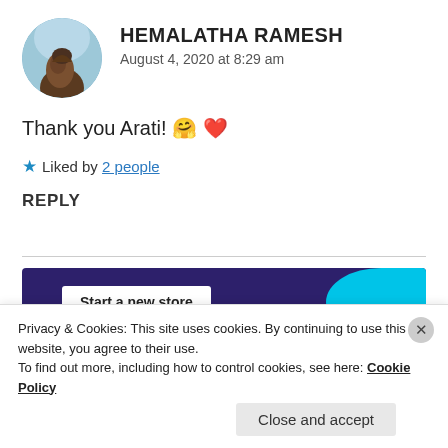[Figure (photo): Circular avatar/profile photo of a bird or animal against a blue sky background]
HEMALATHA RAMESH
August 4, 2020 at 8:29 am
Thank you Arati! 🤗 ❤
★ Liked by 2 people
REPLY
[Figure (screenshot): Advertisement banner: 'Start a new store' on dark purple background with cyan accent]
Privacy & Cookies: This site uses cookies. By continuing to use this website, you agree to their use.
To find out more, including how to control cookies, see here: Cookie Policy
Close and accept